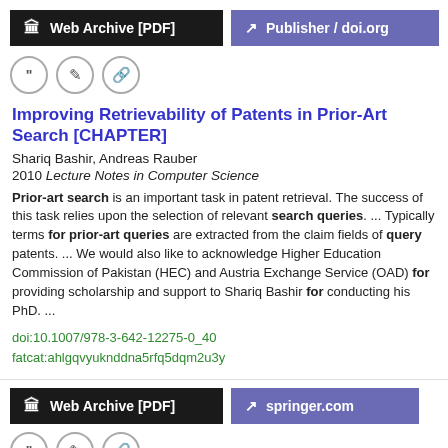[Figure (other): Web Archive [PDF] and Publisher / doi.org buttons]
[Figure (other): Three icon buttons: quote, edit, link]
Improving Retrievability of Patents in Prior-Art Search [CHAPTER]
Shariq Bashir, Andreas Rauber
2010 Lecture Notes in Computer Science
Prior-art search is an important task in patent retrieval. The success of this task relies upon the selection of relevant search queries.  ...  Typically terms for prior-art queries are extracted from the claim fields of query patents.  ...  We would also like to acknowledge Higher Education Commission of Pakistan (HEC) and Austria Exchange Service (OAD) for providing scholarship and support to Shariq Bashir for conducting his PhD.  ...
doi:10.1007/978-3-642-12275-0_40
fatcat:ahlgqvyuknddna5rfq5dqm2u3y
[Figure (other): Web Archive [PDF] and springer.com buttons]
[Figure (other): Three icon buttons: quote, edit, link]